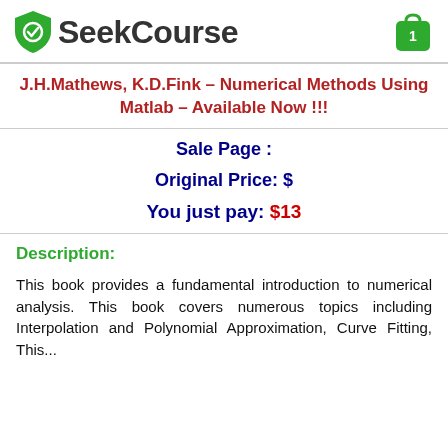SeekCourse
J.H.Mathews, K.D.Fink – Numerical Methods Using Matlab – Available Now !!!
Sale Page :
Original Price: $
You just pay: $13
Description:
This book provides a fundamental introduction to numerical analysis. This book covers numerous topics including Interpolation and Polynomial Approximation, Curve Fitting, This...